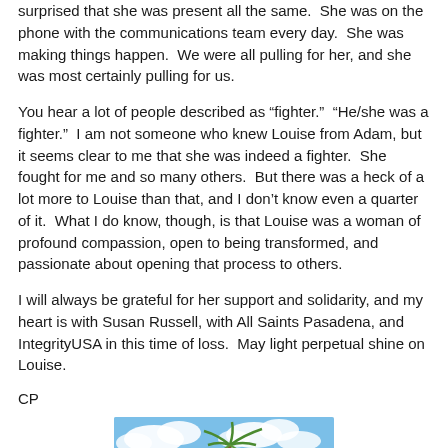surprised that she was present all the same.  She was on the phone with the communications team every day.  She was making things happen.  We were all pulling for her, and she was most certainly pulling for us.
You hear a lot of people described as “fighter.”  “He/she was a fighter.”  I am not someone who knew Louise from Adam, but it seems clear to me that she was indeed a fighter.  She fought for me and so many others.  But there was a heck of a lot more to Louise than that, and I don’t know even a quarter of it.  What I do know, though, is that Louise was a woman of profound compassion, open to being transformed, and passionate about opening that process to others.
I will always be grateful for her support and solidarity, and my heart is with Susan Russell, with All Saints Pasadena, and IntegrityUSA in this time of loss.  May light perpetual shine on Louise.
CP
[Figure (photo): A photo showing a palm tree against a blue sky with clouds]